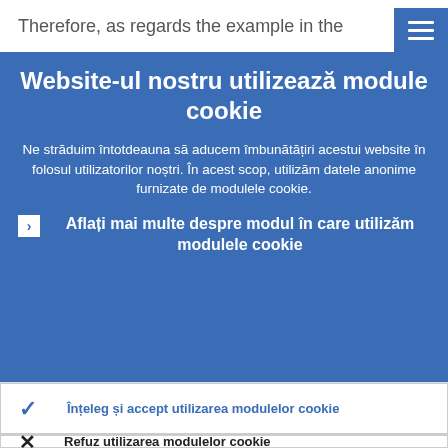Therefore, as regards the example in the
Website-ul nostru utilizează module cookie
Ne străduim întotdeauna să aducem îmbunătățiri acestui website în folosul utilizatorilor noștri. În acest scop, utilizăm datele anonime furnizate de modulele cookie.
Aflați mai multe despre modul în care utilizăm modulele cookie
Înțeleg și accept utilizarea modulelor cookie
Refuz utilizarea modulelor cookie